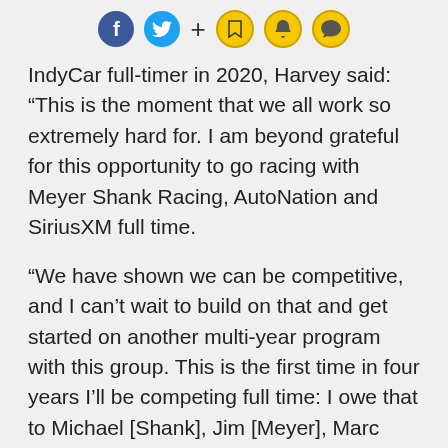[Social share icons: Facebook, Twitter, +, Bookmark, Bell, Comment]
IndyCar full-timer in 2020, Harvey said: “This is the moment that we all work so extremely hard for. I am beyond grateful for this opportunity to go racing with Meyer Shank Racing, AutoNation and SiriusXM full time.
“We have shown we can be competitive, and I can’t wait to build on that and get started on another multi-year program with this group. This is the first time in four years I’ll be competing full time: I owe that to Michael [Shank], Jim [Meyer], Marc [Cannon, AutoNation], my manager Bob Perona and my family for the support and belief. I’ve never been so excited to go racing.”
Said Shank: “These last two years we have been